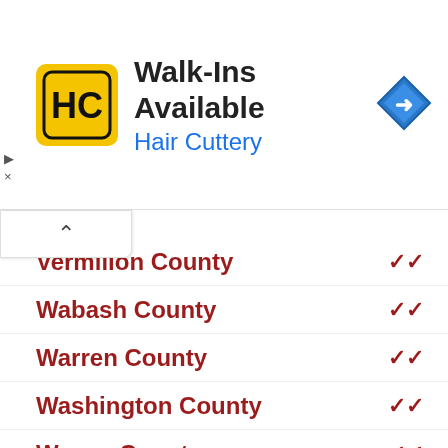[Figure (logo): Hair Cuttery HC logo in yellow square with black border]
Walk-Ins Available
Hair Cuttery
Vermilion County
Wabash County
Warren County
Washington County
Wayne County
White County
Whiteside County
Will County
Williamson County